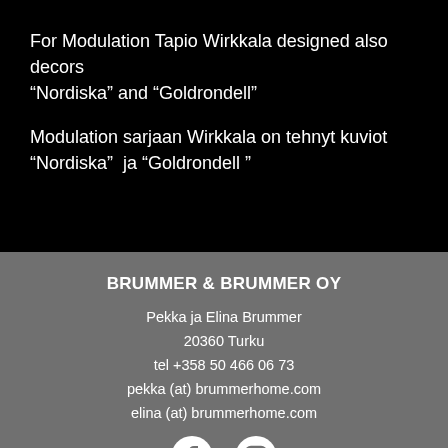For Modulation Tapio Wirkkala designed also decors “Nordiska” and “Goldrondell”
Modulation sarjaan Wirkkala on tehnyt kuviot “Nordiska”  ja “Goldrondell ”
BRUMMER & BRUMMER OY
Pekka ja Elina Brummer
20360 Turku
tel +358 50 466 06 73
pekka (at) brummerhome.com
elina (at) brummerhome.com
[Figure (logo): Facebook and Instagram social media icons in white on grey background]